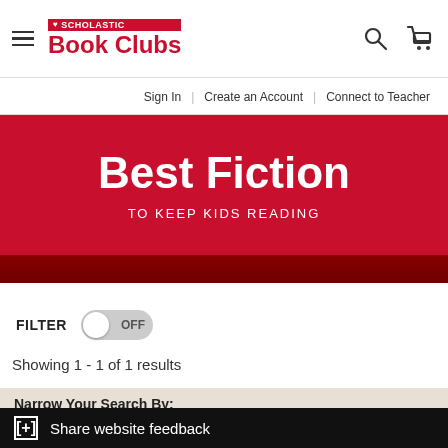[Figure (logo): Scholastic Book Clubs logo with hamburger menu icon on left and search and cart icons on right]
Sign In | Create an Account | Connect to Teacher
Best Fiction
TO KEEP KIDS READING
FILTER OFF
Showing 1 - 1 of 1 results
Narrow Your Search By:
Grade 7 (1)
[+] Share website feedback